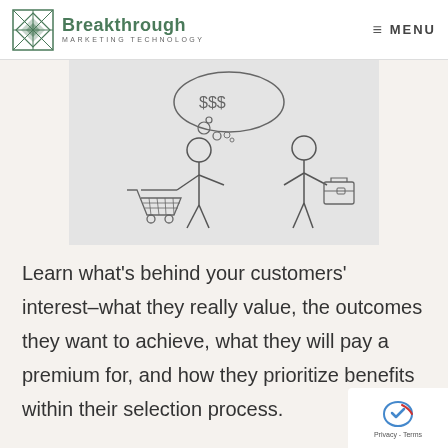Breakthrough Marketing Technology | MENU
[Figure (illustration): Sketch illustration of two stick figures: one on the left with a shopping cart, one on the right holding a briefcase, with a thought bubble between them showing dollar signs and figures]
Learn what’s behind your customers’ interest–what they really value, the outcomes they want to achieve, what they will pay a premium for, and how they prioritize benefits within their selection process.